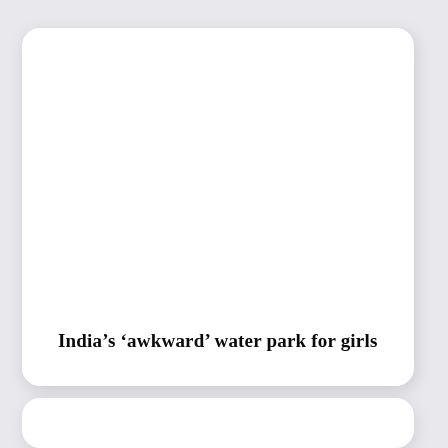India’s ‘awkward’ water park for girls